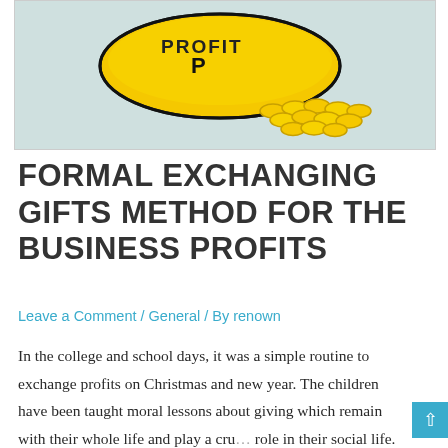[Figure (illustration): A yellow oval pill/coin shape with 'PROFIT' written on it in black letters, with gold coins scattered around its base, on a light teal/grey background.]
FORMAL EXCHANGING GIFTS METHOD FOR THE BUSINESS PROFITS
Leave a Comment / General / By renown
In the college and school days, it was a simple routine to exchange profits on Christmas and new year. The children have been taught moral lessons about giving which remain with their whole life and play a cru… role in their social life. The giving concept changes in